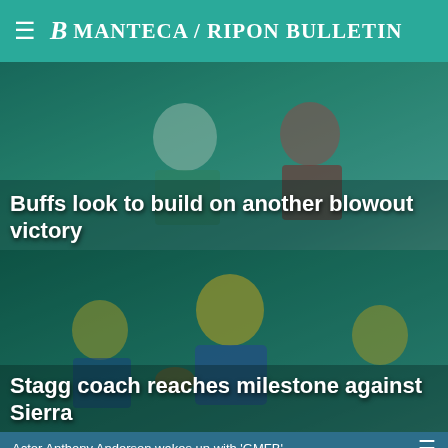Manteca / Ripon Bulletin
[Figure (photo): Football players in action on field — green/teal toned image showing players in helmets colliding]
Buffs look to build on another blowout victory
[Figure (photo): Football players in action — blue and gold uniformed player with football, dark teal background]
Stagg coach reaches milestone against Sierra
Actor Anthony Anderson wakes up with 'GMFB'
[Figure (photo): Left: black video player with yellow mute button. Right: close-up of a man with glasses and beard]